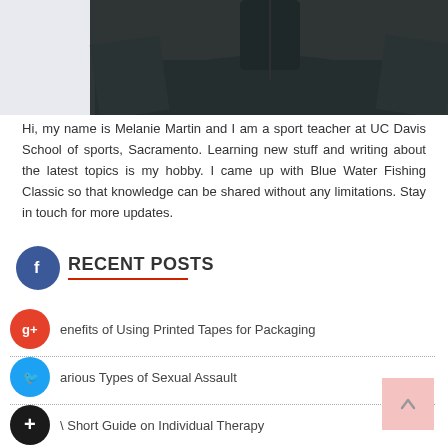[Figure (photo): Person wearing dark sweater/pullover, photo cropped to upper torso, shown from approximately chest up]
Hi, my name is Melanie Martin and I am a sport teacher at UC Davis School of sports, Sacramento. Learning new stuff and writing about the latest topics is my hobby. I came up with Blue Water Fishing Classic so that knowledge can be shared without any limitations. Stay in touch for more updates.
RECENT POSTS
Benefits of Using Printed Tapes for Packaging
Various Types of Sexual Assault
A Short Guide on Individual Therapy
Reasons To Choose Stainless Steel Pipe Fittings
Guide on Types of Floor Finishes